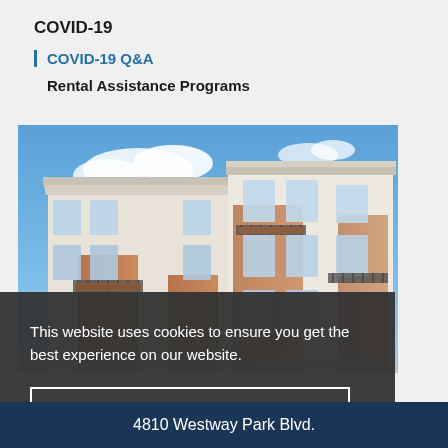COVID-19
COVID-19 Q&A
Rental Assistance Programs
[Figure (photo): Exterior photo of a modern multi-story residential apartment building with balconies, brick and white siding facade, under a blue sky with clouds.]
This website uses cookies to ensure you get the best experience on our website.
Got it!
4810 Westway Park Blvd.